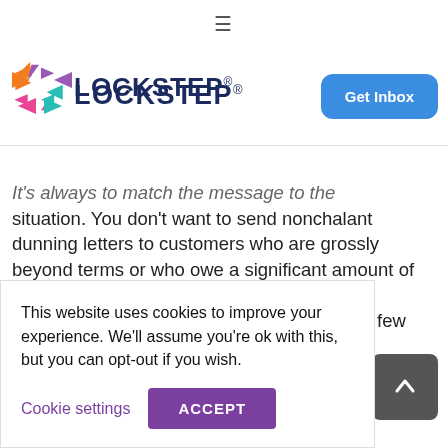[Figure (logo): Lockstep logo with colorful X mark and bold dark blue LOCKSTEP text]
[Figure (other): Blue rounded rectangle button with white text 'Get Inbox']
It's always to match the message to the situation. You don't want to send nonchalant dunning letters to customers who are grossly beyond terms or who owe a significant amount of money; just like you don't want to send an aggressive letter to a customer who is just a few
mments Off
This website uses cookies to improve your experience. We'll assume you're ok with this, but you can opt-out if you wish.
Cookie settings
ACCEPT